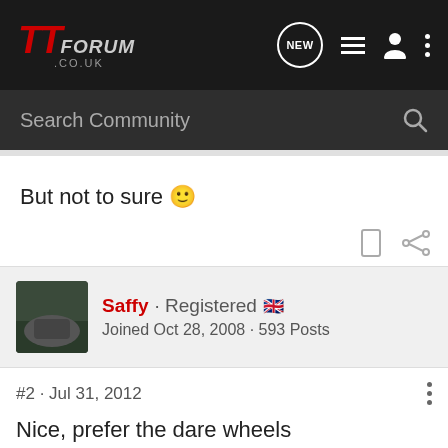TT FORUM .CO.UK
Search Community
But not to sure 🙂
Saffy · Registered 🇬🇧
Joined Oct 28, 2008 · 593 Posts
#2 · Jul 31, 2012
Nice, prefer the dare wheels